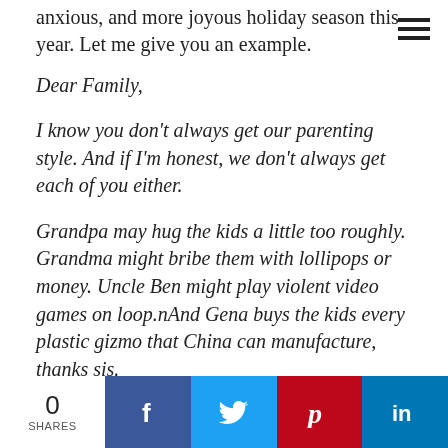anxious, and more joyous holiday season this year. Let me give you an example.
Dear Family,
I know you don't always get our parenting style. And if I'm honest, we don't always get each of you either.
Grandpa may hug the kids a little too roughly. Grandma might bribe them with lollipops or money. Uncle Ben might play violent video games on loop.nAnd Gena buys the kids every plastic gizmo that China can manufacture, thanks sis.
Sometimes you criticize our parenting style. You disagree with us on dietary choices, or wish that we
0 SHARES | Facebook | Twitter | Pinterest | LinkedIn